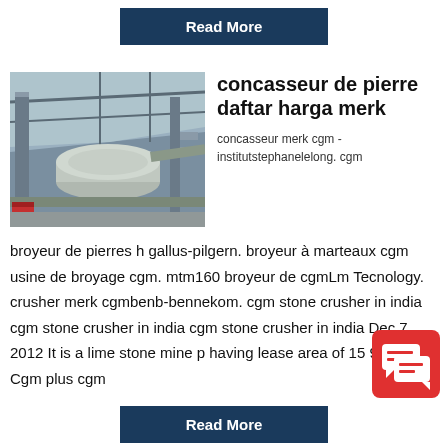[Figure (other): Dark navy 'Read More' button at top]
[Figure (photo): Industrial machinery/mill equipment in a factory building, showing large cylindrical drum/roller and metal framework]
concasseur de pierre daftar harga merk
concasseur merk cgm - institutstephanelelong. cgm broyeur de pierres h gallus-pilgern. broyeur à marteaux cgm usine de broyage cgm. mtm160 broyeur de cgmLm Tecnology. crusher merk cgmbenb-bennekom. cgm stone crusher in india cgm stone crusher in india cgm stone crusher in india Dec 7 2012 It is a lime stone mine p having lease area of 15 99 Hect Cgm plus cgm
[Figure (other): Dark navy 'Read More' button at bottom]